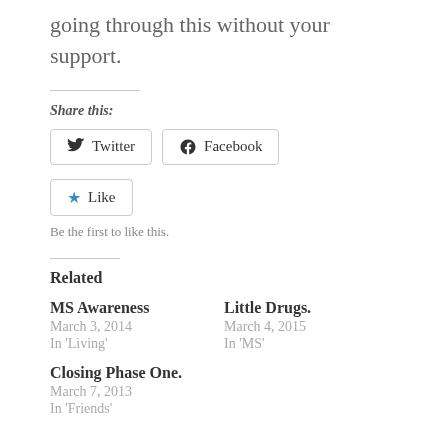going through this without your support.
Share this:
Twitter  Facebook
Like
Be the first to like this.
Related
MS Awareness
March 3, 2014
In 'Living'
Little Drugs.
March 4, 2015
In 'MS'
Closing Phase One.
March 7, 2013
In 'Friends'